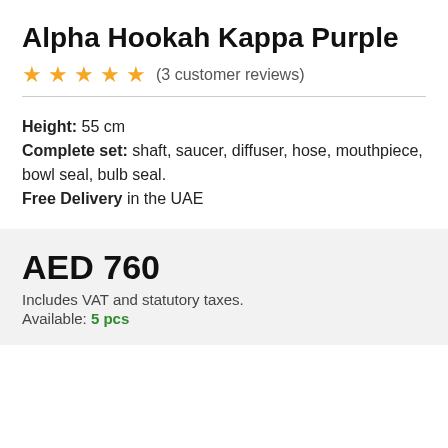Alpha Hookah Kappa Purple
★ ★ ★ ★ ★  (3 customer reviews)
Height: 55 cm
Complete set: shaft, saucer, diffuser, hose, mouthpiece, bowl seal, bulb seal.
Free Delivery in the UAE
AED 760
Includes VAT and statutory taxes.
Available: 5 pcs